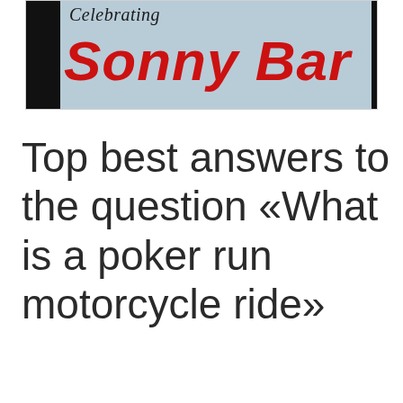[Figure (photo): Partial image showing text 'Celebrating Sonny Bar...' with script and bold red lettering on a light blue background with black bars on the sides]
Top best answers to the question «What is a poker run motorcycle ride»